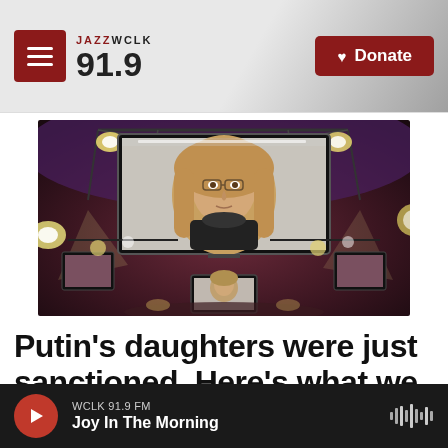JAZZ WCLK 91.9
[Figure (photo): A woman with blonde hair and glasses appears on a large screen in a broadcast studio arena setting with stage lighting and truss rigging. A smaller monitor below shows the same image.]
Putin's daughters were just sanctioned. Here's what we know about them
WCLK 91.9 FM — Joy In The Morning